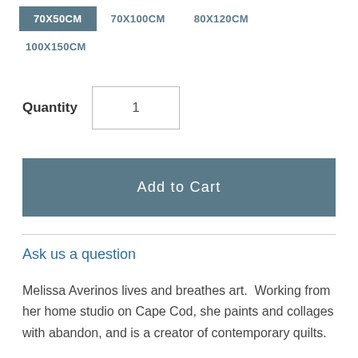70X50CM (active/selected), 70X100CM, 80X120CM
100X150CM
Quantity 1
Add to Cart
Ask us a question
Melissa Averinos lives and breathes art.  Working from her home studio on Cape Cod, she paints and collages with abandon, and is a creator of contemporary quilts.